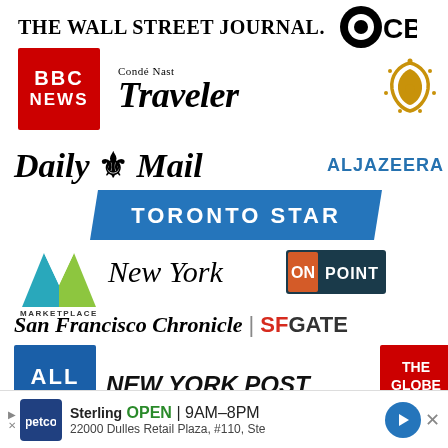[Figure (logo): The Wall Street Journal logo (text) and CBS eye logo]
[Figure (logo): BBC News red box logo, Condé Nast Traveler logo, Al Jazeera Arabic symbol in gold]
[Figure (logo): Daily Mail masthead logo and ALJAZEERA text logo in blue]
[Figure (logo): Toronto Star blue banner logo]
[Figure (logo): Marketplace logo, New York magazine script logo, On Point badge logo]
[Figure (logo): San Francisco Chronicle and SFGATE combined logo]
[Figure (logo): All Things blue box logo, New York Post italic logo, The Globe And red box logo]
[Figure (logo): Petco advertisement banner: Sterling OPEN 9AM-8PM, 22000 Dulles Retail Plaza, #110, Ste]